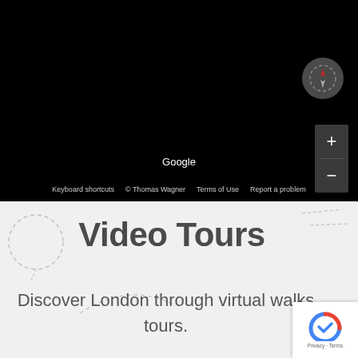[Figure (screenshot): Google Maps Street View or map embed showing a black map view with compass button, zoom controls (+/-), Google attribution, keyboard shortcuts, copyright Thomas Wagner, Terms of Use, and Report a problem links at the bottom.]
Video Tours
Discover London through virtual walks tours.